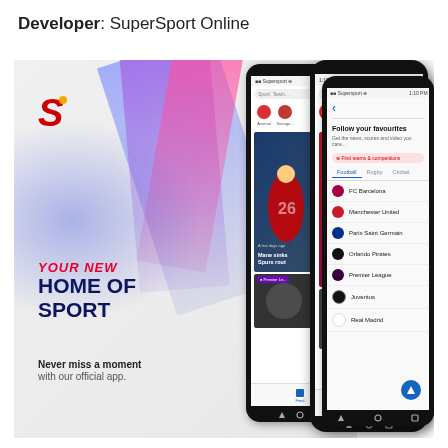Developer: SuperSport Online
[Figure (screenshot): SuperSport app promotional image showing three smartphone screenshots. Left panel shows app promo with 'YOUR NEW HOME OF SPORT' text and 'Never miss a moment with our official app.' tagline. Middle two phones show app interface with team badges, news headlines 'Mane sinks Spurs rout' and 'Chelsea, Son hits four in'. Right phone shows 'Follow your favourites' screen with football teams list including FC Barcelona, Manchester United, Paris Saint Germain, Orlando Pirates, Premier League, Juventus, Real Madrid.]